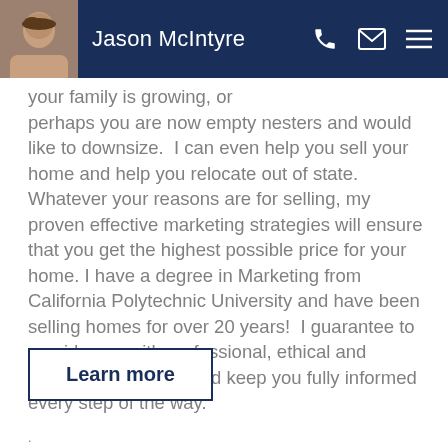Jason McIntyre
your family is growing, or perhaps you are now empty nesters and would like to downsize.  I can even help you sell your home and help you relocate out of state.  Whatever your reasons are for selling, my proven effective marketing strategies will ensure that you get the highest possible price for your home. I have a degree in Marketing from California Polytechnic University and have been selling homes for over 20 years!  I guarantee to provide you with professional, ethical and confidential service and keep you fully informed every step of the way.
Learn more
.